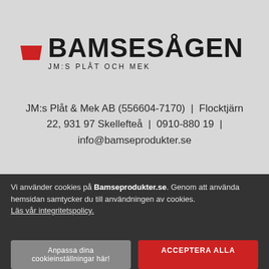[Figure (logo): Bamsesågen logo with red trapezoid icon and bold black text, subtitle JM:S PLÅT OCH MEK]
JM:s Plåt & Mek AB (556604-7170) | Flocktjärn 22, 931 97 Skellefteå | 0910-880 19 | info@bamseprodukter.se
Vi använder cookies på Bamseprodukter.se. Genom att använda hemsidan samtycker du till användningen av cookies. Läs vår integritetspolicy.
Anpassa dina cookieinställningar här!
ACCEPTERA ALLA